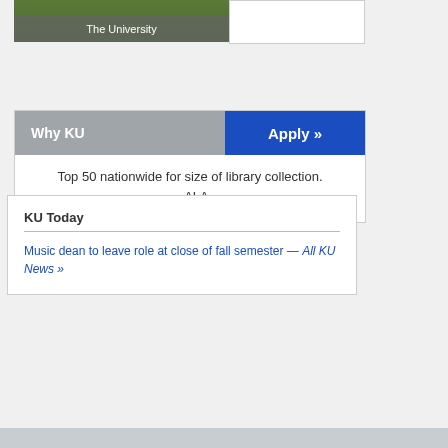[Figure (photo): University campus photo with green trees, with 'The University' overlay text]
Why KU    Apply »
Top 50 nationwide for size of library collection. —ALA
KU Today
Music dean to leave role at close of fall semester — All KU News »
[Figure (infographic): SHOW YOUR SUPPORT banner with Give to KU » button]